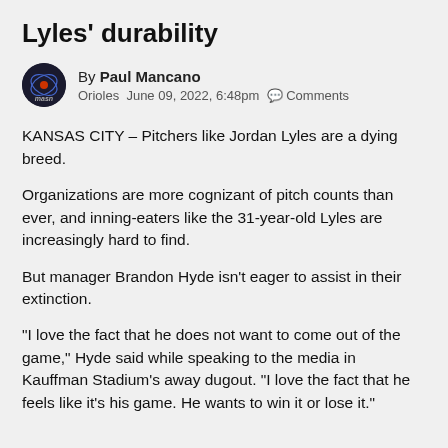Lyles' durability
By Paul Mancano
Orioles   June 09, 2022, 6:48pm   Comments
KANSAS CITY – Pitchers like Jordan Lyles are a dying breed.
Organizations are more cognizant of pitch counts than ever, and inning-eaters like the 31-year-old Lyles are increasingly hard to find.
But manager Brandon Hyde isn't eager to assist in their extinction.
“I love the fact that he does not want to come out of the game,” Hyde said while speaking to the media in Kauffman Stadium’s away dugout. “I love the fact that he feels like it’s his game. He wants to win it or lose it.”